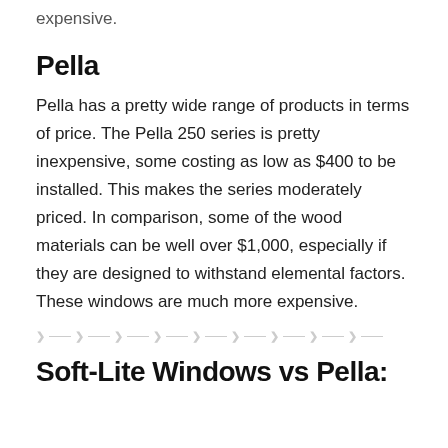expensive.
Pella
Pella has a pretty wide range of products in terms of price. The Pella 250 series is pretty inexpensive, some costing as low as $400 to be installed. This makes the series moderately priced. In comparison, some of the wood materials can be well over $1,000, especially if they are designed to withstand elemental factors. These windows are much more expensive.
Soft-Lite Windows vs Pella: